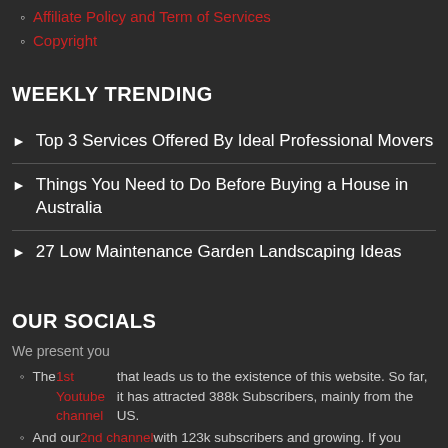Affiliate Policy and Term of Services
Copyright
WEEKLY TRENDING
Top 3 Services Offered By Ideal Professional Movers
Things You Need to Do Before Buying a House in Australia
27 Low Maintenance Garden Landscaping Ideas
OUR SOCIALS
We present you
The 1st Youtube channel that leads us to the existence of this website. So far, it has attracted 388k Subscribers, mainly from the US.
And our 2nd channel with 123k subscribers and growing. If you